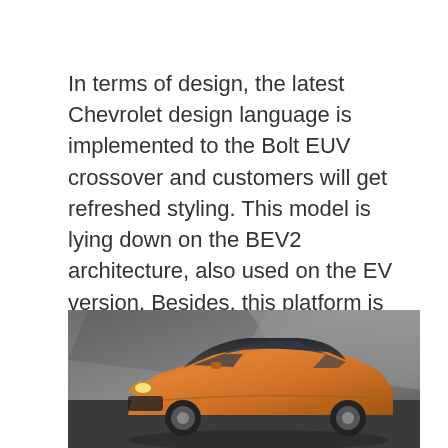In terms of design, the latest Chevrolet design language is implemented to the Bolt EUV crossover and customers will get refreshed styling. This model is lying down on the BEV2 architecture, also used on the EV version. Besides, this platform is stretched 3 inches between the wheels that will result in, more interior space.
[Figure (photo): A gold/orange Chevrolet Bolt EUV crossover vehicle photographed against a dark grey studio background. The car is shown from a front three-quarter angle.]